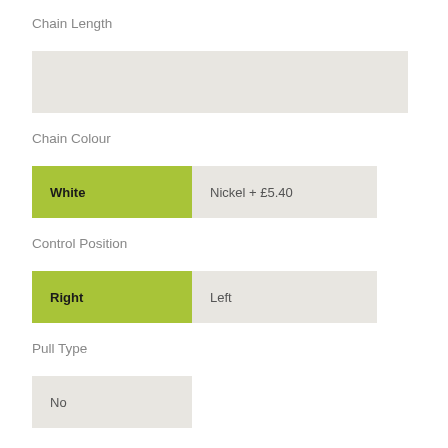Chain Length
[Figure (other): Empty grey input box for Chain Length value]
Chain Colour
[Figure (other): Two option buttons: White (selected, green) and Nickel + £5.40 (unselected, grey)]
Control Position
[Figure (other): Two option buttons: Right (selected, green) and Left (unselected, grey)]
Pull Type
[Figure (other): One option button: No (unselected, grey)]
Fabric Roll
[Figure (other): Two option buttons: Fabric Off Back of (selected, green) and Fabric Off Front of (unselected, grey)]